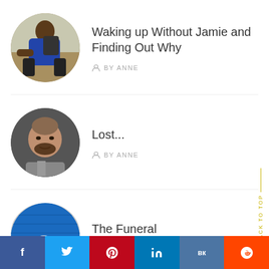[Figure (photo): Circular avatar photo of a young man in a blue shirt, bending forward outdoors in a field]
Waking up Without Jamie and Finding Out Why
BY ANNE
[Figure (photo): Circular avatar photo of a man with beard looking sideways, appears to be in a car]
Lost...
BY ANNE
[Figure (photo): Circular avatar photo partially visible, blue fabric with a badge/pin]
The Funeral